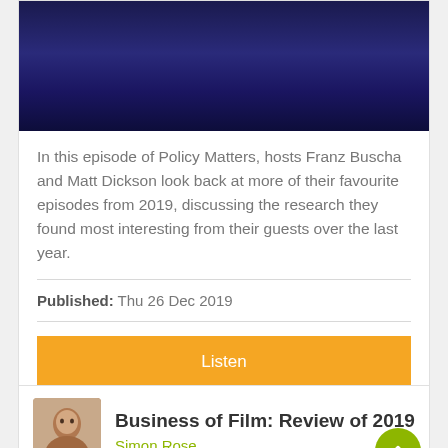[Figure (photo): Dark blue stage lighting hero image at top of card]
In this episode of Policy Matters, hosts Franz Buscha and Matt Dickson look back at more of their favourite episodes from 2019, discussing the research they found most interesting from their guests over the last year.
Published: Thu 26 Dec 2019
Listen
Share Podcast
Business of Film: Review of 2019
Simon Rose